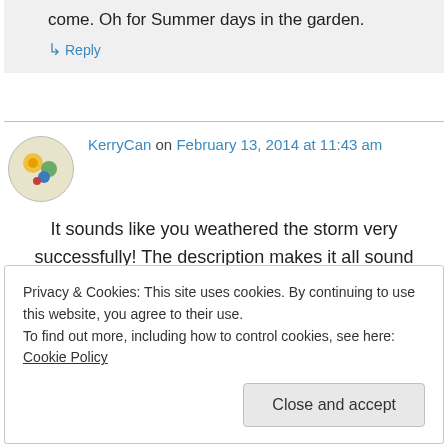come. Oh for Summer days in the garden.
↳ Reply
KerryCan on February 13, 2014 at 11:43 am
It sounds like you weathered the storm very successfully! The description makes it all sound
Privacy & Cookies: This site uses cookies. By continuing to use this website, you agree to their use.
To find out more, including how to control cookies, see here: Cookie Policy
Close and accept